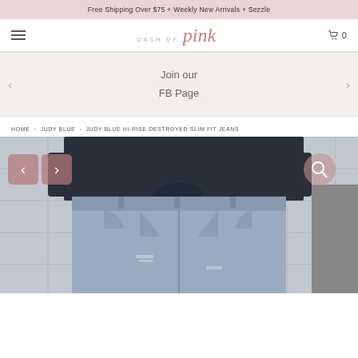Free Shipping Over $75 + Weekly New Arrivals + Sezzle
[Figure (logo): Dash of Pink logo with hamburger menu and cart icon showing 0 items]
Join our
FB Page
HOME > JUDY BLUE > JUDY BLUE HI-RISE DESTROYED SLIM FIT JEANS
[Figure (photo): Woman wearing Judy Blue Hi-Rise Destroyed Slim Fit Jeans in light wash denim with a dark navy knotted top, with navigation arrows and magnifier overlay]